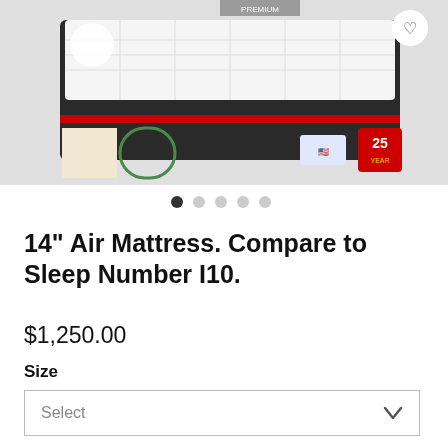[Figure (photo): Product photo of a 14-inch air mattress with dark upholstered sides and white quilted top surface. Various certification badges and a '25' warranty badge are visible in the corners. A heart/wishlist button is in the top-right corner.]
● ○ ○ ○ ○ (carousel navigation dots)
14" Air Mattress. Compare to Sleep Number I10.
$1,250.00
Size
Select
Quantity